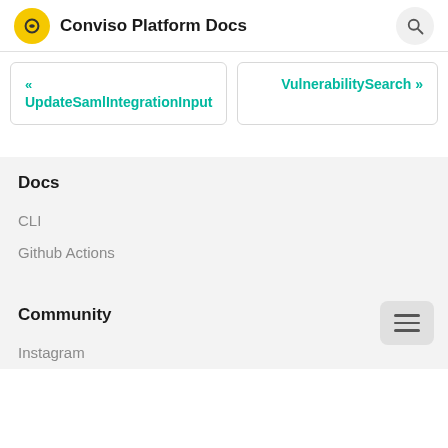Conviso Platform Docs
« UpdateSamlIntegrationInput
VulnerabilitySearch »
Docs
CLI
Github Actions
Community
Instagram